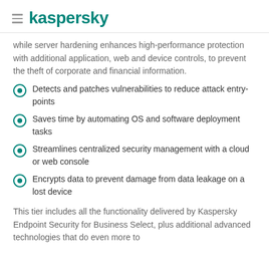kaspersky
while server hardening enhances high-performance protection with additional application, web and device controls, to prevent the theft of corporate and financial information.
Detects and patches vulnerabilities to reduce attack entry-points
Saves time by automating OS and software deployment tasks
Streamlines centralized security management with a cloud or web console
Encrypts data to prevent damage from data leakage on a lost device
This tier includes all the functionality delivered by Kaspersky Endpoint Security for Business Select, plus additional advanced technologies that do even more to